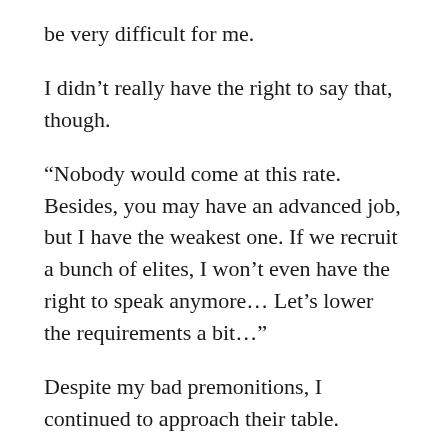be very difficult for me.
I didn't really have the right to say that, though.
“Nobody would come at this rate. Besides, you may have an advanced job, but I have the weakest one. If we recruit a bunch of elites, I won’t even have the right to speak anymore… Let’s lower the requirements a bit…”
Despite my bad premonitions, I continued to approach their table.
I had to pretend to be a cool wizard and greet them despite my weariness.